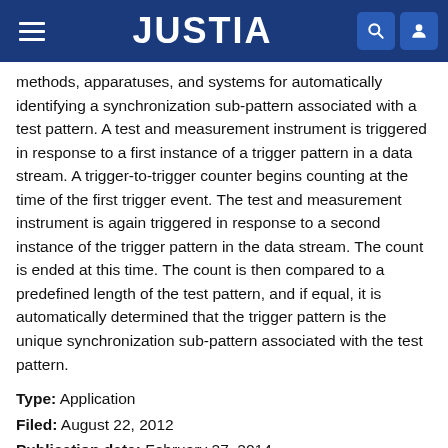JUSTIA
methods, apparatuses, and systems for automatically identifying a synchronization sub-pattern associated with a test pattern. A test and measurement instrument is triggered in response to a first instance of a trigger pattern in a data stream. A trigger-to-trigger counter begins counting at the time of the first trigger event. The test and measurement instrument is again triggered in response to a second instance of the trigger pattern in the data stream. The count is ended at this time. The count is then compared to a predefined length of the test pattern, and if equal, it is automatically determined that the trigger pattern is the unique synchronization sub-pattern associated with the test pattern.
Type: Application
Filed: August 22, 2012
Publication date: February 27, 2014
Applicant: TEKTRONIX, INC.